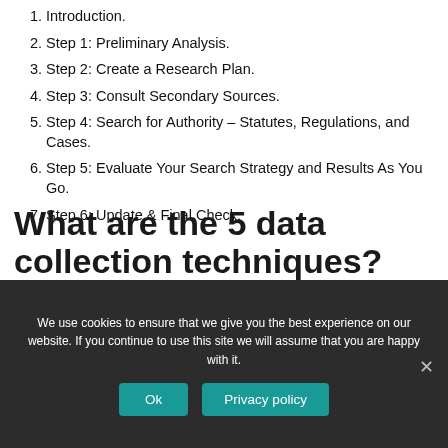1. Introduction.
2. Step 1: Preliminary Analysis.
3. Step 2: Create a Research Plan.
4. Step 3: Consult Secondary Sources.
5. Step 4: Search for Authority – Statutes, Regulations, and Cases.
6. Step 5: Evaluate Your Search Strategy and Results As You Go.
7. Step 6: Update & Final Check.
What are the 5 data collection techniques?
We use cookies to ensure that we give you the best experience on our website. If you continue to use this site we will assume that you are happy with it.